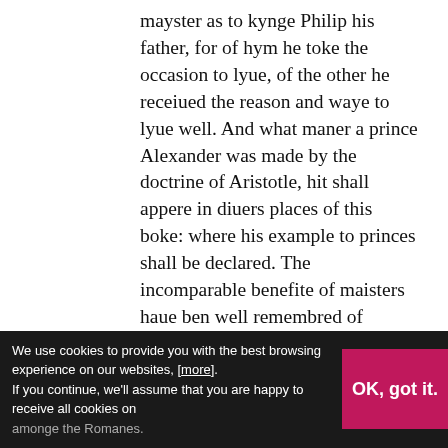mayster as to kynge Philip his father, for of hym he toke the occasion to lyue, of the other he receiued the reason and waye to lyue well. And what maner a prince Alexander was made by the doctrine of Aristotle, hit shall appere in diuers places of this boke: where his example to princes shall be declared. The incomparable benefite of maisters haue ben well remembred of dyuers princes. In so moche as Marcus Antoninus, whiche amonge the emperours was commended for his vertue and sapience, hadde his mayster Proculus (who taught hym grammer) so moche in to be proconsul: whiche was amonge the Romanes.
We use cookies to provide you with the best browsing experience on our websites, [more]. If you continue, we'll assume that you are happy to receive all cookies on